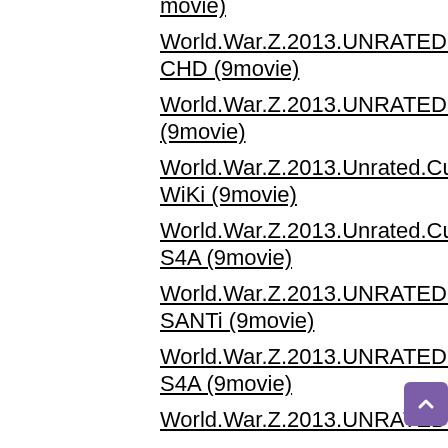movie)
World.War.Z.2013.UNRATED.CUT.2013.BluRay.720p.1080p.DTS.x264-CHD (9movie)
World.War.Z.2013.UNRATED.Cut.BRRip.1080p.x264.AAC.RARBG (9movie)
World.War.Z.2013.Unrated.Cut.720p.BluRay.x264.DTS-WiKi (9movie)
World.War.Z.2013.Unrated.Cut.BRRip.XviD-S4A (9movie)
World.War.Z.2013.UNRATED.2013.BRRip.XviD.AC3-SANTi (9movie)
World.War.Z.2013.UNRATED.CUT.2013.BRRip.720p.1080p.XviD-S4A (9movie)
World.War.Z.2013.UNRATED.CUT.72…